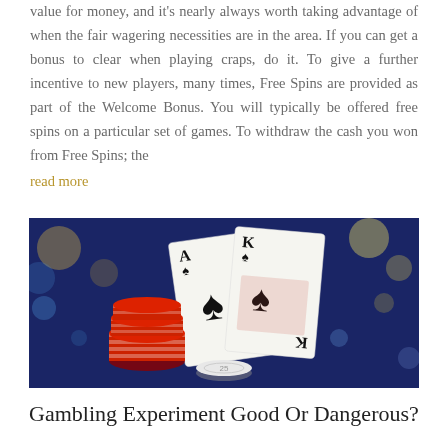value for money, and it's nearly always worth taking advantage of when the fair wagering necessities are in the area. If you can get a bonus to clear when playing craps, do it. To give a further incentive to new players, many times, Free Spins are provided as part of the Welcome Bonus. You will typically be offered free spins on a particular set of games. To withdraw the cash you won from Free Spins; the
read more
[Figure (photo): Casino playing cards (Ace and King of spades) leaning against a dark blue background, with red poker chips stacked on the left and a white chip in the foreground]
Gambling Experiment Good Or Dangerous?